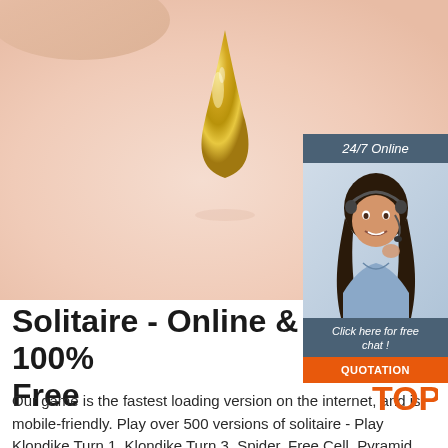[Figure (photo): A gold teardrop-shaped pendant or charm hovering above a peach/cream colored surface, photographed close-up. The background is a warm peachy-beige gradient.]
[Figure (infographic): 24/7 Online chat widget with dark blue-grey header, photo of a smiling female customer service agent wearing a headset, 'Click here for free chat!' text, and an orange QUOTATION button.]
Solitaire - Online & 100% Free
Our game is the fastest loading version on the internet, and is mobile-friendly. Play over 500 versions of solitaire - Play Klondike Turn 1, Klondike Turn 3, Spider, Free Cell, Pyramid, and Golf, among
[Figure (logo): TOP logo with orange text and decorative dots above the T]